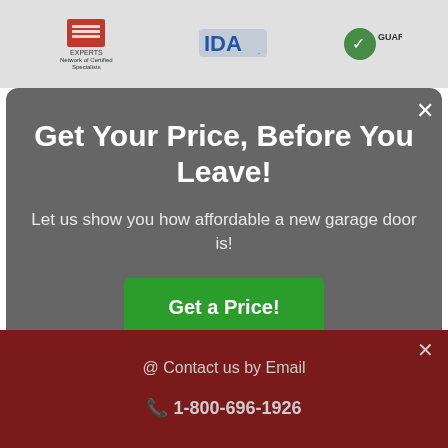[Figure (logo): Top banner with three logos: Experts Network of Certified Specialists (red logo), IDA logo, and a Guaranteed badge (green checkmark)]
Get Your Price, Before You Leave!
Let us show you how affordable a new garage door is!
Get a Price!
@ Contact us by Email
1-800-696-1926